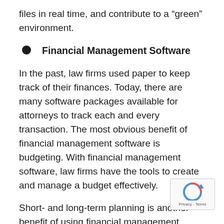files in real time, and contribute to a “green” environment.
Financial Management Software
In the past, law firms used paper to keep track of their finances. Today, there are many software packages available for attorneys to track each and every transaction. The most obvious benefit of financial management software is budgeting. With financial management software, law firms have the tools to create and manage a budget effectively.
Short- and long-term planning is another benefit of using financial management software. Unfortunately, many people don’t think about the future, even when considering the financial go…